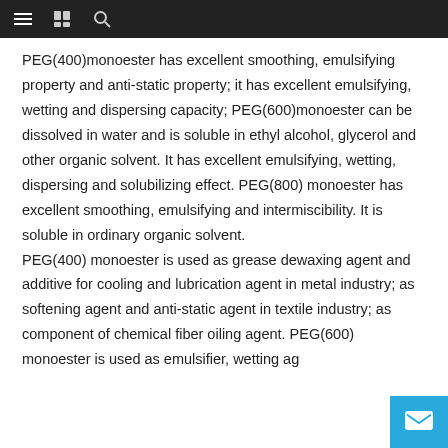≡  [book icon]  [search icon]
PEG(400)monoester has excellent smoothing, emulsifying property and anti-static property; it has excellent emulsifying, wetting and dispersing capacity; PEG(600)monoester can be dissolved in water and is soluble in ethyl alcohol, glycerol and other organic solvent. It has excellent emulsifying, wetting, dispersing and solubilizing effect. PEG(800) monoester has excellent smoothing, emulsifying and intermiscibility. It is soluble in ordinary organic solvent. PEG(400) monoester is used as grease dewaxing agent and additive for cooling and lubrication agent in metal industry; as softening agent and anti-static agent in textile industry; as component of chemical fiber oiling agent. PEG(600) monoester is used as emulsifier, wetting ag